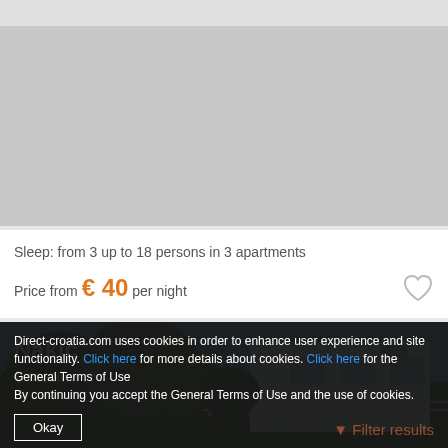[Figure (photo): Gray placeholder image for Petra property]
Petra
3600m
★★★★☆ 1 rating
Sleep: from 3 up to 18 persons in 3 apartments
Price from € 40 per night
[Figure (photo): Photo of Nakić property showing a house with trees, fence, and blue sky]
Nakić
3660m
Direct-croatia.com uses cookies in order to enhance user experience and site functionality. Click here for more details about cookies. Click here for the General Terms of Use. By continuing you accept the General Terms of Use and the use of cookies.
Okay